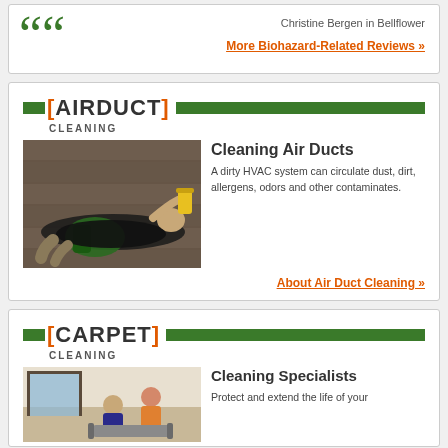Christine Bergen in Bellflower
More Biohazard-Related Reviews »
[AIRDUCT] CLEANING
[Figure (photo): Person lying on the ground cleaning an air duct, holding a yellow canister with green equipment nearby]
Cleaning Air Ducts
A dirty HVAC system can circulate dust, dirt, allergens, odors and other contaminates.
About Air Duct Cleaning »
[CARPET] CLEANING
[Figure (photo): Carpet cleaning specialists working on a carpet]
Cleaning Specialists
Protect and extend the life of your